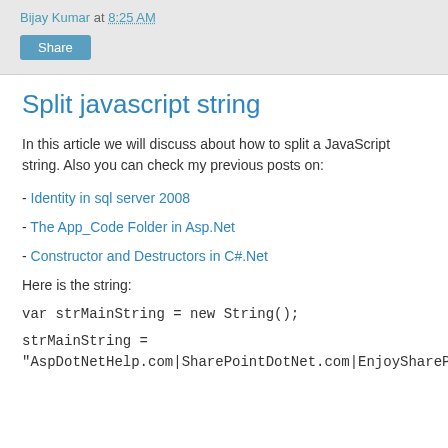Bijay Kumar at 8:25 AM
Share
Split javascript string
In this article we will discuss about how to split a JavaScript string. Also you can check my previous posts on:
- Identity in sql server 2008
- The App_Code Folder in Asp.Net
- Constructor and Destructors in C#.Net
Here is the string:
var strMainString = new String();
strMainString = "AspDotNetHelp.com|SharePointDotNet.com|EnjoySharePoi